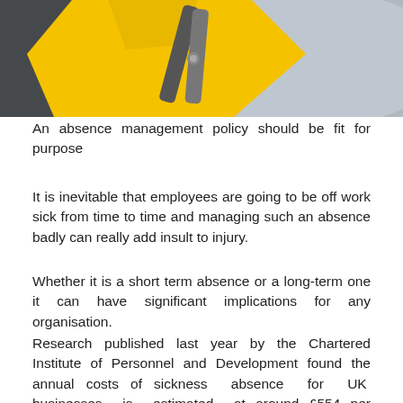[Figure (photo): Close-up photo of yellow scissors cutting through a yellow object against a blurred grey background]
An absence management policy should be fit for purpose
It is inevitable that employees are going to be off work sick from time to time and managing such an absence badly can really add insult to injury.
Whether it is a short term absence or a long-term one it can have significant implications for any organisation.
Research published last year by the Chartered Institute of Personnel and Development found the annual costs of sickness absence for UK businesses is estimated at around £554 per employee (1)